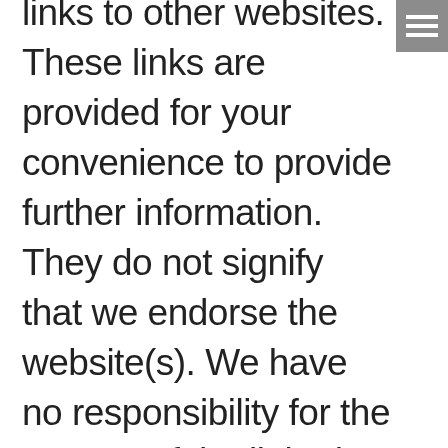[Figure (other): Hamburger menu icon — three horizontal white lines on a grey square background, top-right corner]
links to other websites. These links are provided for your convenience to provide further information. They do not signify that we endorse the website(s). We have no responsibility for the content of the linked website(s).